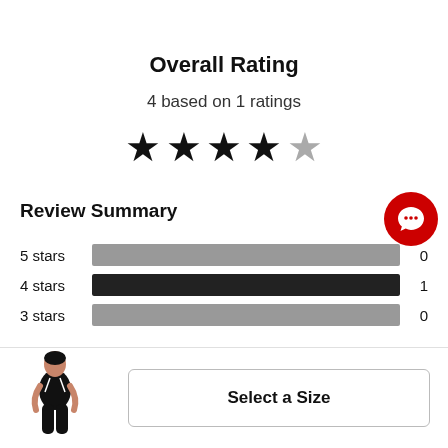Overall Rating
4 based on 1 ratings
[Figure (other): 4 out of 5 star rating display: 4 filled black stars, 1 gray empty star]
Review Summary
[Figure (bar-chart): Review Summary]
[Figure (photo): Product thumbnail: woman wearing black bib shorts]
Select a Size